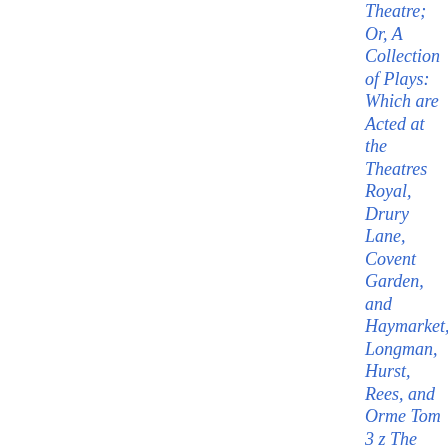Theatre; Or, A Collection of Plays: Which are Acted at the Theatres Royal, Drury Lane, Covent Garden, and Haymarket, Longman, Hurst, Rees, and Orme Tom 3 z The British theatre: or, A collection of plays, Mrs. Inchbald